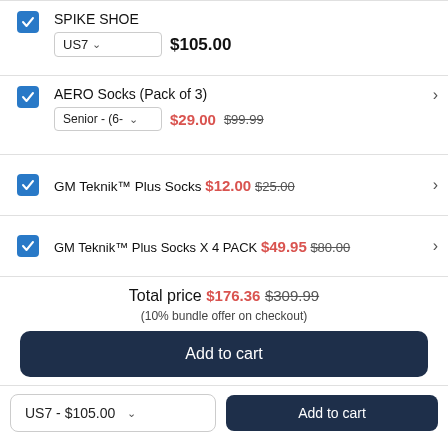SPIKE SHOE — US7 — $105.00
AERO Socks (Pack of 3) — Senior - (6-... — $29.00 was $99.99
GM Teknik™ Plus Socks — $12.00 was $25.00
GM Teknik™ Plus Socks X 4 PACK — $49.95 was $80.00
Total price $176.36 $309.99
(10% bundle offer on checkout)
Add to cart
US7 - $105.00  Add to cart